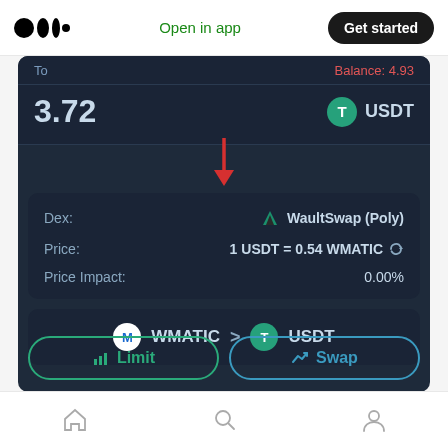Open in app  Get started
[Figure (screenshot): Mobile DeFi swap interface showing a token swap from WMATIC to USDT on WaultSwap (Poly) DEX. Shows balance: 4.93, amount: 3.72 USDT, price: 1 USDT = 0.54 WMATIC, price impact: 0.00%, route WMATIC > USDT, with Limit and Swap buttons. A red arrow annotation points to the Dex selector field.]
Home  Search  Profile